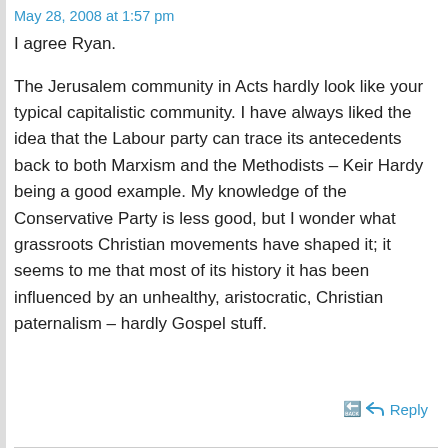May 28, 2008 at 1:57 pm
I agree Ryan.
The Jerusalem community in Acts hardly look like your typical capitalistic community. I have always liked the idea that the Labour party can trace its antecedents back to both Marxism and the Methodists – Keir Hardy being a good example. My knowledge of the Conservative Party is less good, but I wonder what grassroots Christian movements have shaped it; it seems to me that most of its history it has been influenced by an unhealthy, aristocratic, Christian paternalism – hardly Gospel stuff.
Reply